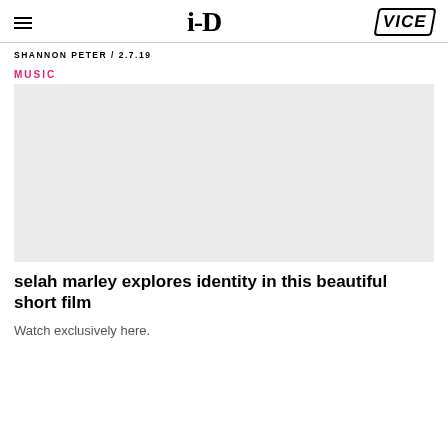i-D  VICE
SHANNON PETER / 2.7.19
MUSIC
[Figure (photo): Large grey placeholder image area for a video or photo]
selah marley explores identity in this beautiful short film
Watch exclusively here.